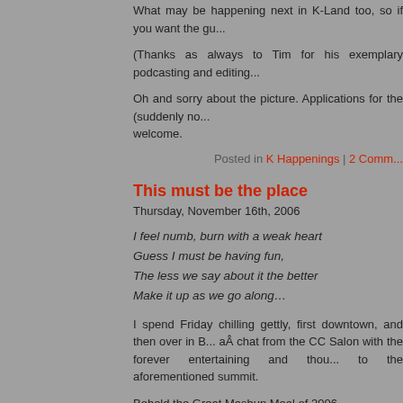What may be happening next in K-Land too, so if you want the gu...
(Thanks as always to Tim for his exemplary podcasting and editing...
Oh and sorry about the picture. Applications for the (suddenly no... welcome.
Posted in K Happenings | 2 Comm...
This must be the place
Thursday, November 16th, 2006
I feel numb, burn with a weak heart
Guess I must be having fun,
The less we say about it the better
Make it up as we go along…
I spend Friday chilling gettly, first downtown, and then over in B... aÂ chat from the CC Salon with the forever entertaining and thou... to the aforementioned summit.
Behold the Great Mashup Meal of 2006.
Yes, A&D again excel themselves by bringing together more transa... one room than you can shake a dodgy copy of Acid at. I'm scared... out but (deep breath) we got A & D, Earworm, Party Ben, Dada,